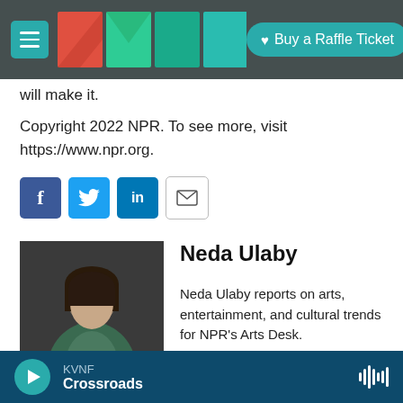[Figure (screenshot): Website header with KVNF logo (colored squares forming letters K, V, N, F), hamburger menu icon, and teal 'Buy a Raffle Ticket' button on a dark rocky background]
will make it.
Copyright 2022 NPR. To see more, visit https://www.npr.org.
[Figure (other): Social sharing icons row: Facebook (blue f), Twitter (blue bird), LinkedIn (blue in), Email (envelope outline)]
[Figure (photo): Author photo of Neda Ulaby, a woman with dark hair sitting in a chair, wearing a teal/green top, on a dark grey background]
Neda Ulaby
Neda Ulaby reports on arts, entertainment, and cultural trends for NPR's Arts Desk.
See stories by Neda Ulaby
KVNF Crossroads